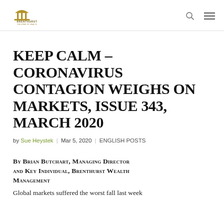Brenthurst Wealth Management
KEEP CALM – CORONAVIRUS CONTAGION WEIGHS ON MARKETS, ISSUE 343, MARCH 2020
by Sue Heystek | Mar 5, 2020 | ENGLISH POSTS
By Brian Butchart, Managing Director and Key Individual, Brenthurst Wealth Management
Global markets suffered the worst fall last week